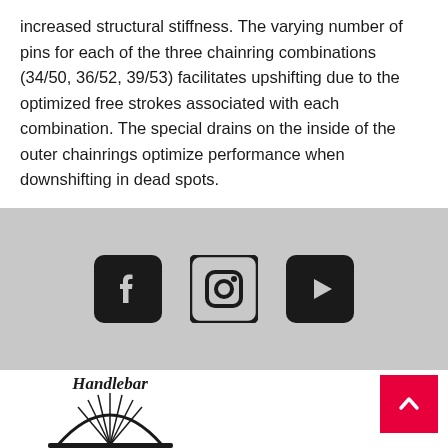increased structural stiffness. The varying number of pins for each of the three chainring combinations (34/50, 36/52, 39/53) facilitates upshifting due to the optimized free strokes associated with each combination. The special drains on the inside of the outer chainrings optimize performance when downshifting in dead spots.
[Figure (logo): Three social media icons in a gray band: Facebook, Instagram, YouTube]
[Figure (logo): Handlebar cycling shop logo — partial view of circular badge with bicycle wheel motif and cursive Handlebar text]
[Figure (other): Red back-to-top button with upward chevron arrow]